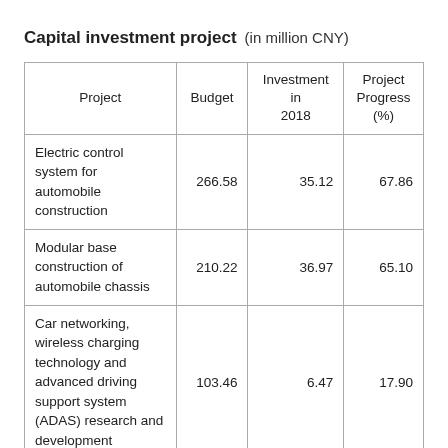Capital investment project (in million CNY)
| Project | Budget | Investment in 2018 | Project Progress (%) |
| --- | --- | --- | --- |
| Electric control system for automobile construction | 266.58 | 35.12 | 67.86 |
| Modular base construction of automobile chassis | 210.22 | 36.97 | 65.10 |
| Car networking, wireless charging technology and advanced driving support system (ADAS) research and development | 103.46 | 6.47 | 17.90 |